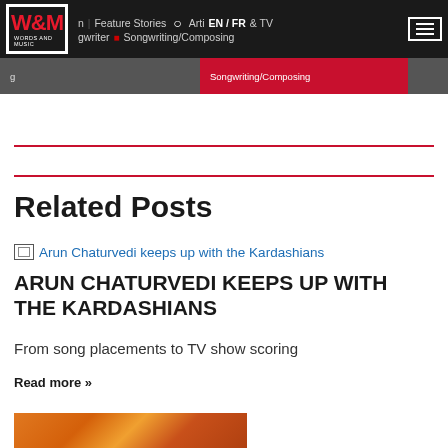W&M Words and Music | Feature Stories | Artists | EN/FR | Songwriter | Songwriting/Composing
Related Posts
[Figure (screenshot): Broken image thumbnail for Arun Chaturvedi keeps up with the Kardashians article]
ARUN CHATURVEDI KEEPS UP WITH THE KARDASHIANS
From song placements to TV show scoring
Read more »
[Figure (photo): Colorful photo with orange background and African textile patterns]